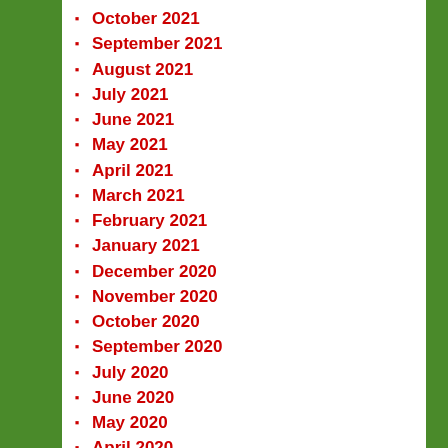October 2021
September 2021
August 2021
July 2021
June 2021
May 2021
April 2021
March 2021
February 2021
January 2021
December 2020
November 2020
October 2020
September 2020
July 2020
June 2020
May 2020
April 2020
March 2020
February 2020
January 2020